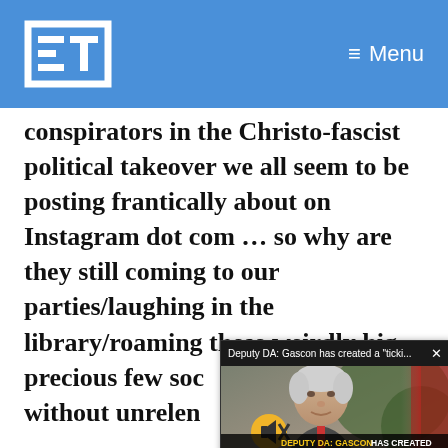ET  Menu
conspirators in the Christo-fascist political takeover we all seem to be posting frantically about on Instagram dot com … so why are they still coming to our parties/laughing in the library/roaming these weirdly high precious few soci without unrelent
[Figure (screenshot): Video popup overlay showing news headline: Deputy DA: Gascon has created a 'ticki...' with a photo of a man and lower-third text: DEPUTY DA: GASCON HAS CREATED A "TICKING TIME BOMB" BY RELEASING VIOLENT OFFENDERS]
Her other classm student Leah Fes wrote on Instagram.